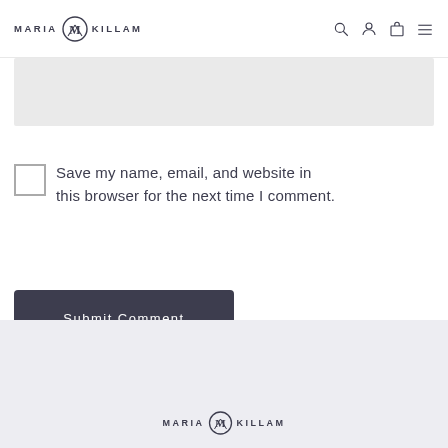MARIA KILLAM
[Figure (other): Gray input/textarea field area]
Save my name, email, and website in this browser for the next time I comment.
Submit Comment
MARIA KILLAM